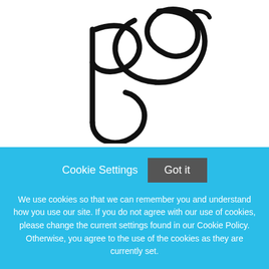[Figure (logo): Parks Veterinary logo — stylized cursive 'SP' letters in black on white background]
About Parks Veterinary
Parks Veterinary is companion animal veterinary hospital serving central Nebraska. Established 27 years ago by Dr. Mark Hughes, it continues to grow with local clients and regional referrals. The practice moved into a new 14,000
Cookie Settings   Got it
We use cookies so that we can remember you and understand how you use our site. If you do not agree with our use of cookies, please change the current settings found in our Cookie Policy. Otherwise, you agree to the use of the cookies as they are currently set.